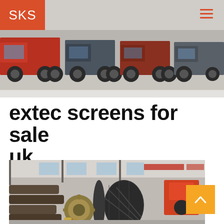[Figure (photo): Header banner photo of multiple heavy trucks parked in an industrial yard]
SKS
extec screens for sale uk
[Figure (photo): Industrial factory interior showing a large cylindrical drum/roller component with diamond-pattern surface, metallic gears and pipes in a workshop setting]